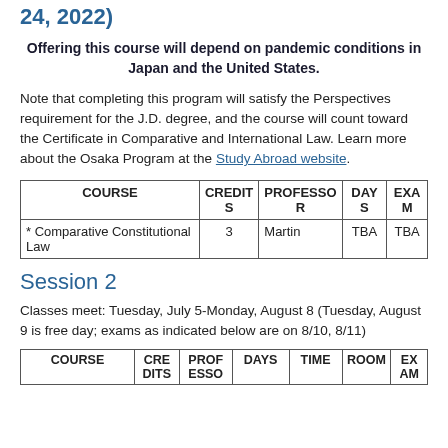24, 2022)
Offering this course will depend on pandemic conditions in Japan and the United States.
Note that completing this program will satisfy the Perspectives requirement for the J.D. degree, and the course will count toward the Certificate in Comparative and International Law. Learn more about the Osaka Program at the Study Abroad website.
| COURSE | CREDITS | PROFESSOR | DAYS | EXAM |
| --- | --- | --- | --- | --- |
| * Comparative Constitutional Law | 3 | Martin | TBA | TBA |
Session 2
Classes meet: Tuesday, July 5-Monday, August 8 (Tuesday, August 9 is free day; exams as indicated below are on 8/10, 8/11)
| COURSE | CREDITS | PROFESSOR | DAYS | TIME | ROOM | EXAM |
| --- | --- | --- | --- | --- | --- | --- |